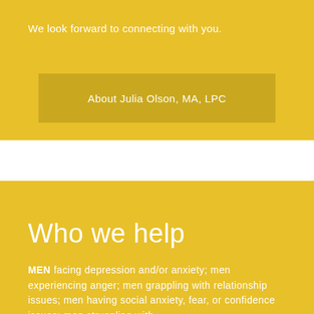We look forward to connecting with you.
About Julia Olson, MA, LPC
Who we help
MEN facing depression and/or anxiety; men experiencing anger; men grappling with relationship issues; men having social anxiety, fear, or confidence issues; men struggling with